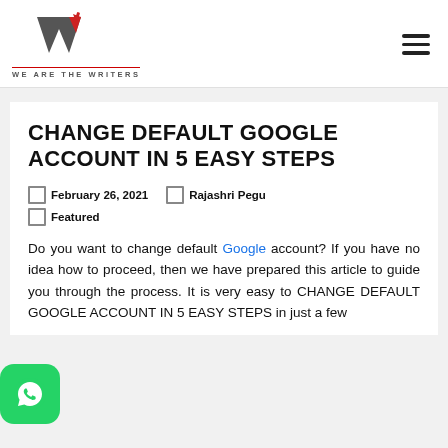WE ARE THE WRITERS
CHANGE DEFAULT GOOGLE ACCOUNT IN 5 EASY STEPS
February 26, 2021   Rajashri Pegu   Featured
Do you want to change default Google account? If you have no idea how to proceed, then we have prepared this article to guide you through the process. It is very easy to CHANGE DEFAULT GOOGLE ACCOUNT IN 5 EASY STEPS in just a few